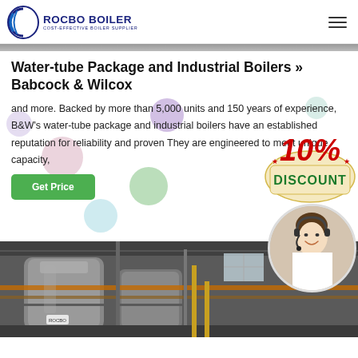ROCBO BOILER — COST-EFFECTIVE BOILER SUPPLIER
Water-tube Package and Industrial Boilers » Babcock & Wilcox
and more. Backed by more than 5,000 units and 150 years of experience, B&W's water-tube package and industrial boilers have an established reputation for reliability and proven They are engineered to meet unique capacity,
[Figure (illustration): 10% DISCOUNT promotional badge with red and beige styling]
[Figure (photo): Customer service representative wearing headset, smiling]
[Figure (photo): Industrial boiler room interior with large cylindrical boiler equipment and pipes]